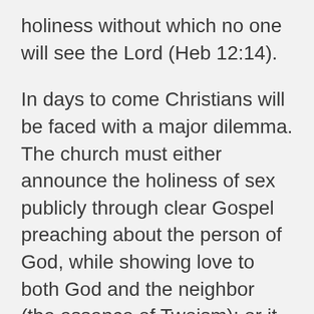holiness without which no one will see the Lord (Heb 12:14).
In days to come Christians will be faced with a major dilemma. The church must either announce the holiness of sex publicly through clear Gospel preaching about the person of God, while showing love to both God and the neighbor (the essence of Twoism); or it must remain silent under the culture's determination to eliminate all distinctions and to call gospel preaching hate speech (the essence of Oneism). Christians speak the truth about God not for the sake of “Christian nationalism” but for